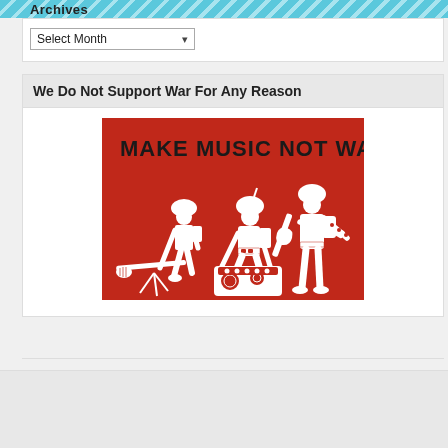Archives
Select Month
We Do Not Support War For Any Reason
[Figure (illustration): A red background illustration with white silhouette soldiers holding musical instruments as if they were weapons. Text reads 'MAKE MUSIC NOT WAR' in bold black letters. Three soldiers are depicted: one kneeling with a guitar-gun on a tripod, one crouching with a DJ mixer as equipment, and one standing playing an electric guitar like a rifle.]